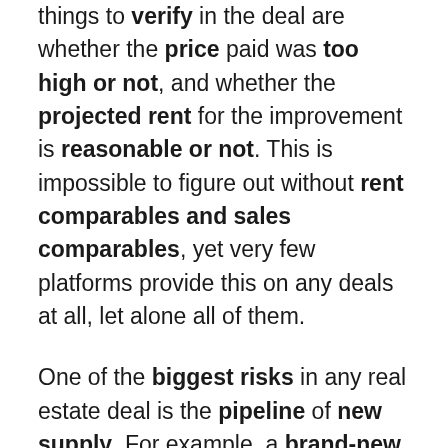things to verify in the deal are whether the price paid was too high or not, and whether the projected rent for the improvement is reasonable or not. This is impossible to figure out without rent comparables and sales comparables, yet very few platforms provide this on any deals at all, let alone all of them.
One of the biggest risks in any real estate deal is the pipeline of new supply. For example, a brand-new self storage facility built nearby can throw off even the most conservative pro forma. Standard in every Arborcrowd deal is a